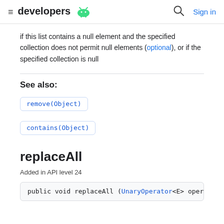developers
if this list contains a null element and the specified collection does not permit null elements (optional), or if the specified collection is null
See also:
remove(Object)
contains(Object)
replaceAll
Added in API level 24
public void replaceAll (UnaryOperator<E> operator)